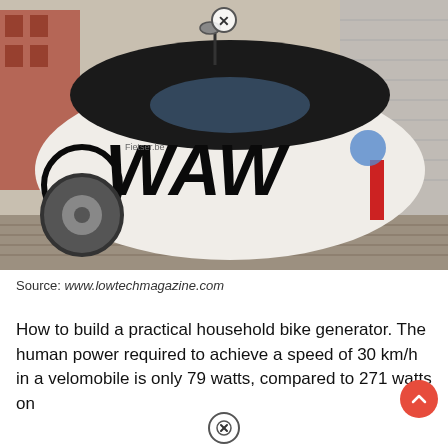[Figure (photo): A white velomobile (enclosed recumbent bicycle) with black 'WAW' lettering on its side, parked on a cobblestone street next to a brick wall. The vehicle has a teardrop aerodynamic shape with a black top section and white body.]
Source: www.lowtechmagazine.com
How to build a practical household bike generator. The human power required to achieve a speed of 30 km/h in a velomobile is only 79 watts, compared to 271 watts on